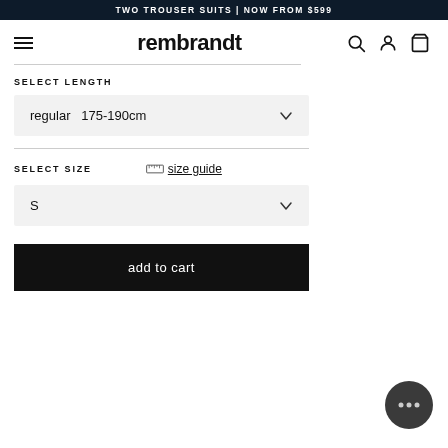TWO TROUSER SUITS | NOW FROM $599
[Figure (logo): Rembrandt menswear logo with hamburger menu, search, account, and cart icons]
SELECT LENGTH
regular   175-190cm
SELECT SIZE
size guide
S
add to cart
[Figure (other): Chat support bubble widget in bottom right]